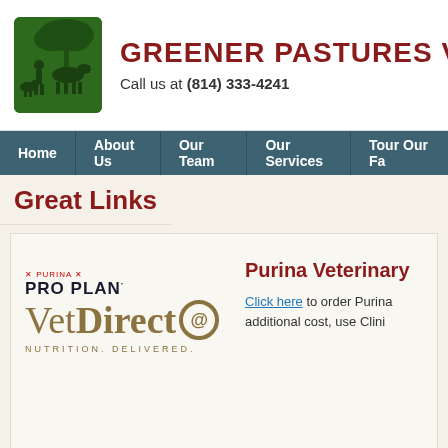[Figure (logo): Greener Pastures Veterinary logo: dark green square with silhouettes of person with horse and dog under a tree]
GREENER PASTURES VE
Call us at (814) 333-4241
Home | About Us | Our Team | Our Services | Tour Our Fa
Great Links
[Figure (logo): Purina Pro Plan VetDirect logo with tagline NUTRITION. DELIVERED.]
Purina Veterinary
Click here to order Purina additional cost, use Clini